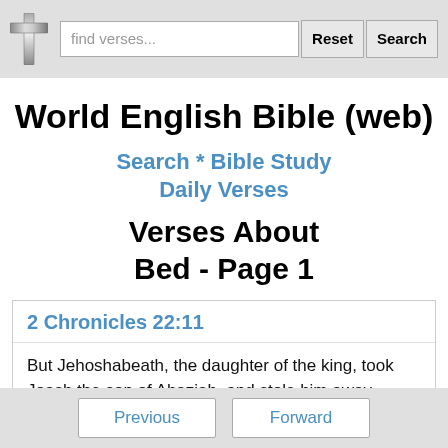find verses... Reset Search
World English Bible (web)
Search * Bible Study
Daily Verses
Verses About Bed - Page 1
2 Chronicles 22:11
But Jehoshabeath, the daughter of the king, took Joash the son of Ahaziah, and stole him away,
Previous  Forward